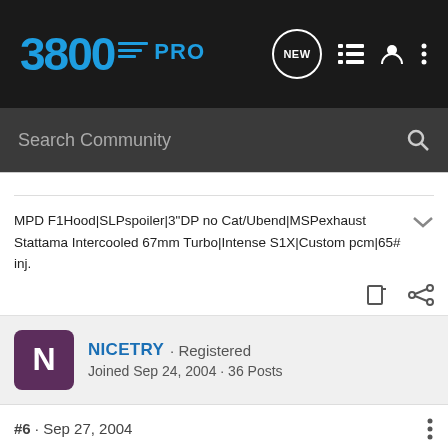3800 PRO
Search Community
MPD F1Hood|SLPspoiler|3"DP no Cat/Ubend|MSPexhaust Stattama Intercooled 67mm Turbo|Intense S1X|Custom pcm|65# inj.
NICETRY · Registered
Joined Sep 24, 2004 · 36 Posts
#6 · Sep 27, 2004
I'm building my 4" FWI as we speak! 😀